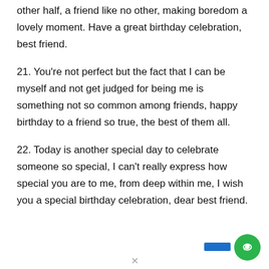other half, a friend like no other, making boredom a lovely moment. Have a great birthday celebration, best friend.
21. You're not perfect but the fact that I can be myself and not get judged for being me is something not so common among friends, happy birthday to a friend so true, the best of them all.
22. Today is another special day to celebrate someone so special, I can't really express how special you are to me, from deep within me, I wish you a special birthday celebration, dear best friend.